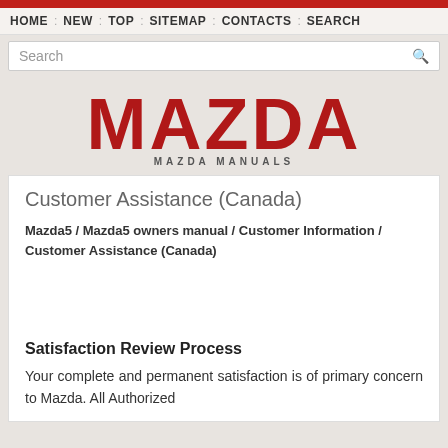HOME : NEW : TOP : SITEMAP : CONTACTS : SEARCH
Customer Assistance (Canada)
Mazda5 / Mazda5 owners manual / Customer Information / Customer Assistance (Canada)
Satisfaction Review Process
Your complete and permanent satisfaction is of primary concern to Mazda. All Authorized